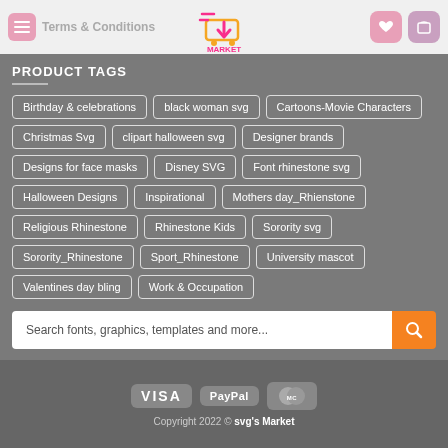Terms & Conditions — SVG Market header navigation
PRODUCT TAGS
Birthday & celebrations
black woman svg
Cartoons-Movie Characters
Christmas Svg
clipart halloween svg
Designer brands
Designs for face masks
Disney SVG
Font rhinestone svg
Halloween Designs
Inspirational
Mothers day_Rhienstone
Religious Rhinestone
Rhinestone Kids
Sorority svg
Sorority_Rhinestone
Sport_Rhinestone
University mascot
Valentines day bling
Work & Occupation
Search fonts, graphics, templates and more...
VISA  PayPal  MasterCard  Copyright 2022 © svg's Market